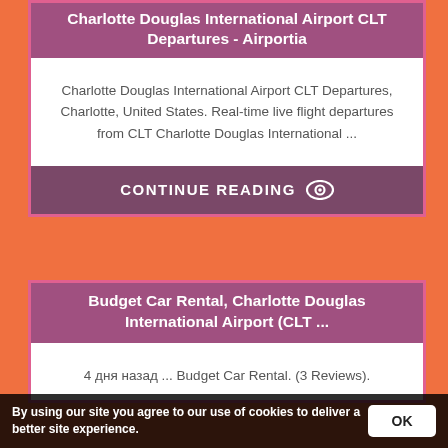Charlotte Douglas International Airport CLT Departures - Airportia
Charlotte Douglas International Airport CLT Departures, Charlotte, United States. Real-time live flight departures from CLT Charlotte Douglas International ...
CONTINUE READING
Budget Car Rental, Charlotte Douglas International Airport (CLT ...
4 дня назад ... Budget Car Rental. (3 Reviews).
By using our site you agree to our use of cookies to deliver a better site experience.